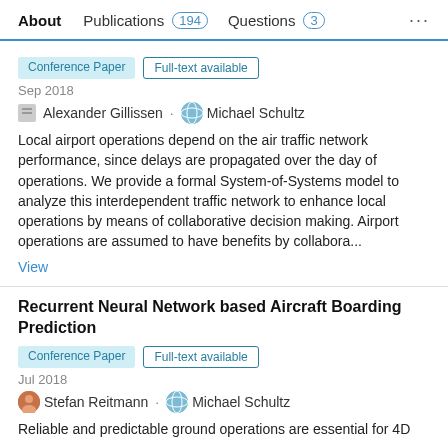About  Publications 194  Questions 3  ...
Conference Paper  Full-text available
Sep 2018
Alexander Gillissen · Michael Schultz
Local airport operations depend on the air traffic network performance, since delays are propagated over the day of operations. We provide a formal System-of-Systems model to analyze this interdependent traffic network to enhance local operations by means of collaborative decision making. Airport operations are assumed to have benefits by collabora...
View
Recurrent Neural Network based Aircraft Boarding Prediction
Conference Paper  Full-text available
Jul 2018
Stefan Reitmann · Michael Schultz
Reliable and predictable ground operations are essential for 4D